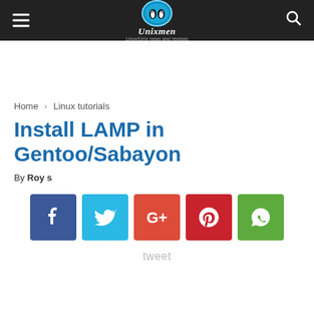Unixmen - Linux/Unix news and reviews
Home › Linux tutorials
Install LAMP in Gentoo/Sabayon
By Roy s
[Figure (other): Social share buttons: Facebook, Twitter, Google+, Pinterest, WhatsApp]
tweet